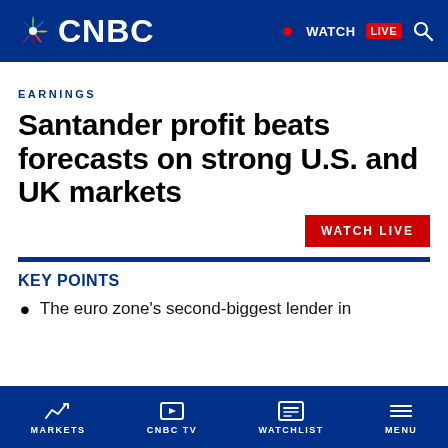CNBC — WATCH LIVE
EARNINGS
Santander profit beats forecasts on strong U.S. and UK markets
[Figure (other): WATCH LIVE red button]
KEY POINTS
The euro zone's second-biggest lender in
MARKETS | CNBC TV | WATCHLIST | MENU